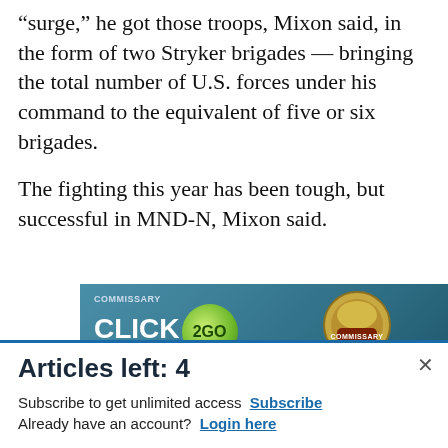“surge,” he got those troops, Mixon said, in the form of two Stryker brigades — bringing the total number of U.S. forces under his command to the equivalent of five or six brigades.
The fighting this year has been tough, but successful in MND-N, Mixon said.
[Figure (screenshot): Advertisement banner for Commissary Click2Go service showing logo, green circle badge with '2GO', Commissary emblem, and text 'order groceries | PICKUP']
Articles left: 4
Subscribe to get unlimited access  Subscribe
Already have an account?  Login here